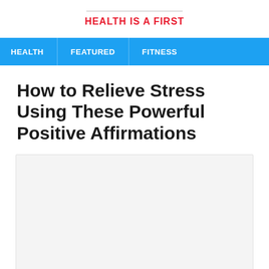HEALTH IS A FIRST
HEALTH  FEATURED  FITNESS
How to Relieve Stress Using These Powerful Positive Affirmations
[Figure (photo): Large image placeholder area, light gray background]